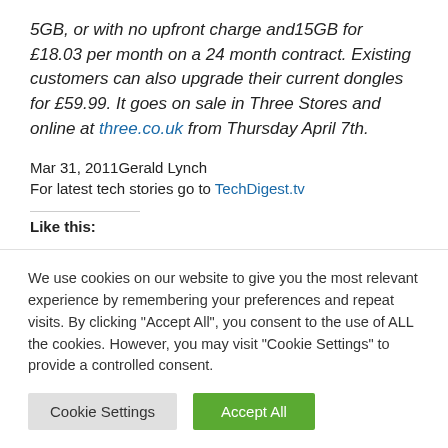5GB, or with no upfront charge and15GB for £18.03 per month on a 24 month contract. Existing customers can also upgrade their current dongles for £59.99. It goes on sale in Three Stores and online at three.co.uk from Thursday April 7th.
Mar 31, 2011Gerald Lynch
For latest tech stories go to TechDigest.tv
Like this:
We use cookies on our website to give you the most relevant experience by remembering your preferences and repeat visits. By clicking "Accept All", you consent to the use of ALL the cookies. However, you may visit "Cookie Settings" to provide a controlled consent.